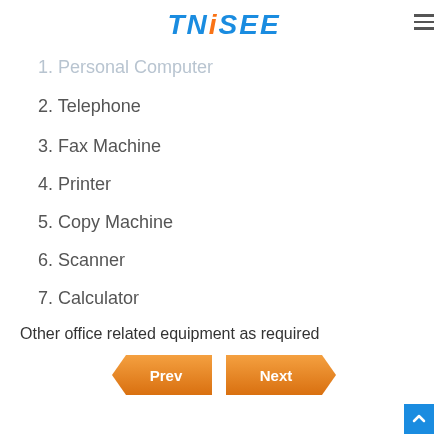TNiSEE
1. Personal Computer
2. Telephone
3. Fax Machine
4. Printer
5. Copy Machine
6. Scanner
7. Calculator
Other office related equipment as required